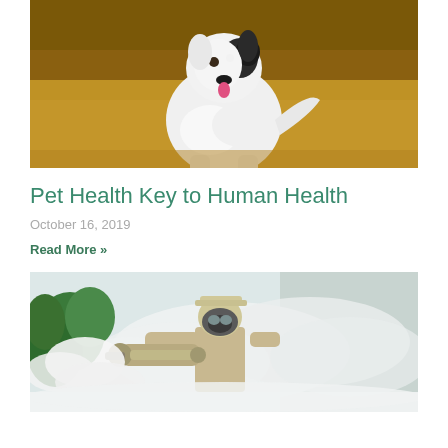[Figure (photo): A white and black border collie dog running in a field with dry grass in the background]
Pet Health Key to Human Health
October 16, 2019
Read More »
[Figure (photo): A person wearing a gas mask and protective gear spraying pesticide fog in an outdoor area with green trees]